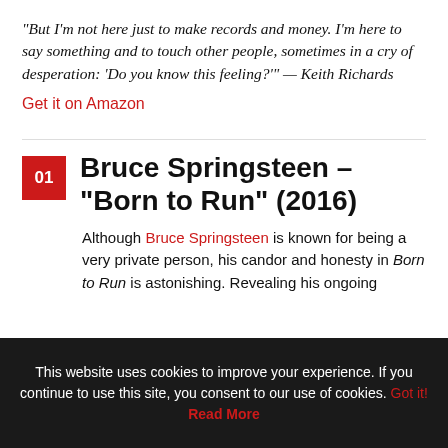“But I’m not here just to make records and money. I’m here to say something and to touch other people, sometimes in a cry of desperation: ‘Do you know this feeling?’” — Keith Richards
Get it on Amazon
01 Bruce Springsteen – “Born to Run” (2016)
Although Bruce Springsteen is known for being a very private person, his candor and honesty in Born to Run is astonishing. Revealing his ongoing
This website uses cookies to improve your experience. If you continue to use this site, you consent to our use of cookies. Got it! Read More